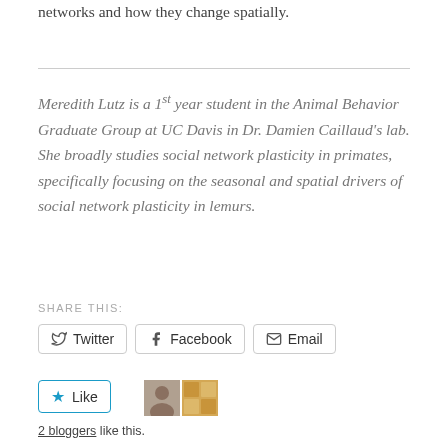networks and how they change spatially.
Meredith Lutz is a 1st year student in the Animal Behavior Graduate Group at UC Davis in Dr. Damien Caillaud's lab. She broadly studies social network plasticity in primates, specifically focusing on the seasonal and spatial drivers of social network plasticity in lemurs.
SHARE THIS:
Twitter  Facebook  Email
Like  2 bloggers like this.